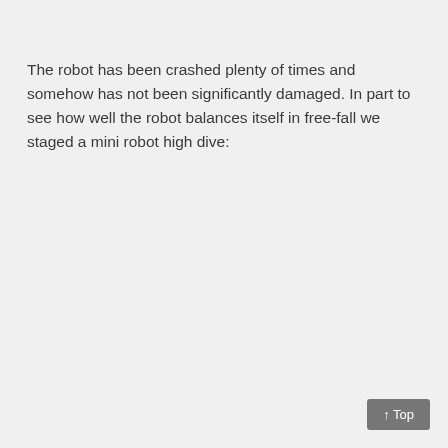The robot has been crashed plenty of times and somehow has not been significantly damaged. In part to see how well the robot balances itself in free-fall we staged a mini robot high dive:
↑ Top